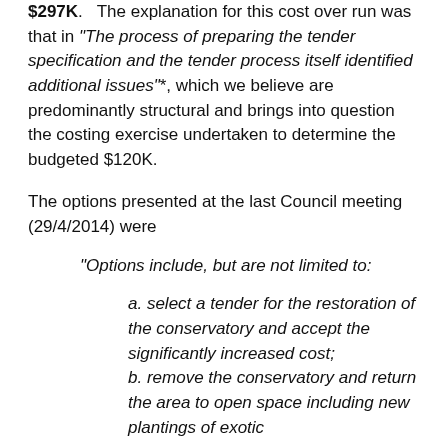received for the restoration of the conservatory was $297K. The explanation for this cost over run was that in “The process of preparing the tender specification and the tender process itself identified additional issues”*, which we believe are predominantly structural and brings into question the costing exercise undertaken to determine the budgeted $120K.
The options presented at the last Council meeting (29/4/2014) were
“Options include, but are not limited to:
a. select a tender for the restoration of the conservatory and accept the significantly increased cost;
b. remove the conservatory and return the area to open space including new plantings of exotic